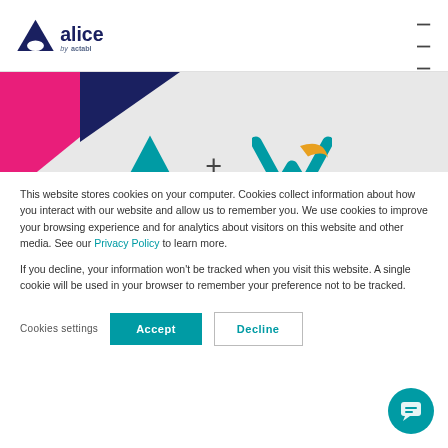[Figure (logo): Alice by actabl logo in dark navy blue with A triangle icon]
[Figure (illustration): Banner with pink and navy triangles, Alice logo plus Vcommand logo in teal and gold]
This website stores cookies on your computer. Cookies collect information about how you interact with our website and allow us to remember you. We use cookies to improve your browsing experience and for analytics about visitors on this website and other media. See our Privacy Policy to learn more.
If you decline, your information won't be tracked when you visit this website. A single cookie will be used in your browser to remember your preference not to be tracked.
Cookies settings  Accept  Decline